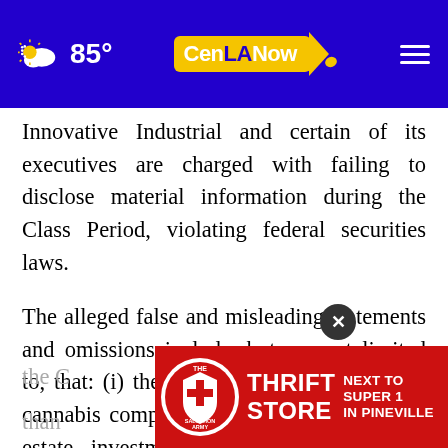85° CenLANow [navigation bar]
Innovative Industrial and certain of its executives are charged with failing to disclose material information during the Class Period, violating federal securities laws.
The alleged false and misleading statements and omissions include, but are not limited to, that: (i) the Company's focus is to be a cannabis company lender rather than a real estate investment trust (REIT); (ii) the true values of the C[ompany's assets were l]ower than [previously reported; (iii) the Company's] top [management...]
[Figure (infographic): Advertisement banner for The Salvation Army Thrift Store – Next to Super 1 in Pineville]